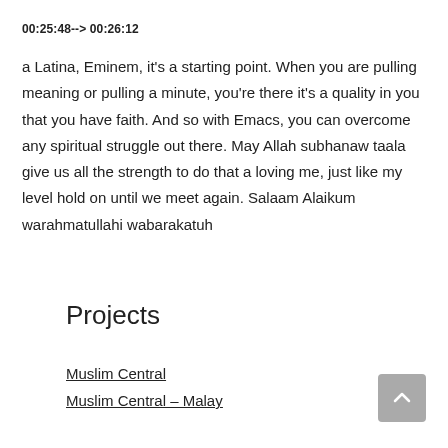00:25:48--> 00:26:12
a Latina, Eminem, it's a starting point. When you are pulling meaning or pulling a minute, you're there it's a quality in you that you have faith. And so with Emacs, you can overcome any spiritual struggle out there. May Allah subhanaw taala give us all the strength to do that a loving me, just like my level hold on until we meet again. Salaam Alaikum warahmatullahi wabarakatuh
Projects
Muslim Central
Muslim Central – Malay